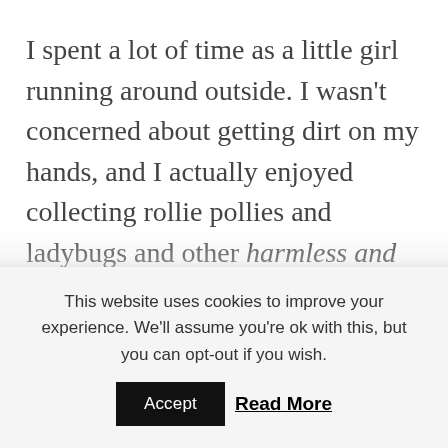I spent a lot of time as a little girl running around outside. I wasn't concerned about getting dirt on my hands, and I actually enjoyed collecting rollie pollies and ladybugs and other harmless and cute bugs. As long as I was wearing shoes, and as long as the spider was below neck level, I didn't mind squashing the occasional spider in the house to protect a younger sibling.
This website uses cookies to improve your experience. We'll assume you're ok with this, but you can opt-out if you wish.